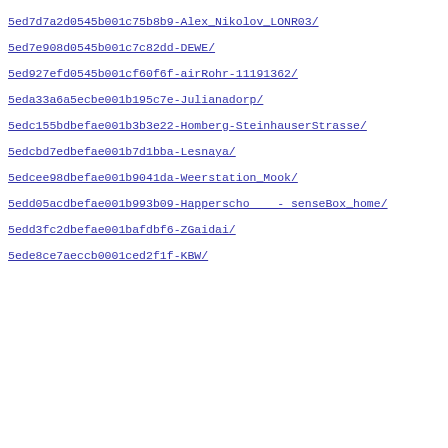5ed7d7a2d0545b001c75b8b9-Alex_Nikolov_LONR03/
5ed7e908d0545b001c7c82dd-DEWE/
5ed927efd0545b001cf60f6f-airRohr-11191362/
5eda33a6a5ecbe001b195c7e-Julianadorp/
5edc155bdbefae001b3b3e22-Homberg-SteinhauserStrasse/
5edcbd7edbefae001b7d1bba-Lesnaya/
5edcee98dbefae001b9041da-Weerstation_Mook/
5edd05acdbefae001b993b09-Happerscho    - senseBox_home/
5edd3fc2dbefae001bafdbf6-ZGaidai/
5ede8ce7aeccb0001ced2f1f-KBW/